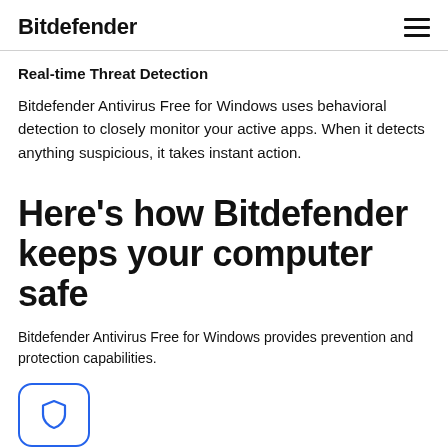Bitdefender
Real-time Threat Detection
Bitdefender Antivirus Free for Windows uses behavioral detection to closely monitor your active apps. When it detects anything suspicious, it takes instant action.
Here's how Bitdefender keeps your computer safe
Bitdefender Antivirus Free for Windows provides prevention and protection capabilities.
[Figure (illustration): Blue rounded rectangle icon containing a shield outline symbol]